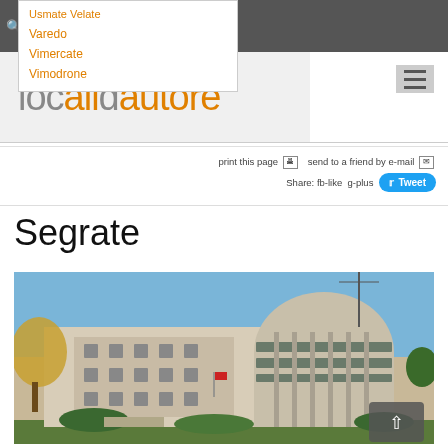localidautore — navigation bar with zoom icons, ENGLISH language selector, Facebook, Twitter, Google+ social icons
Usmate Velate
Varedo
Vimercate
Vimodrone
print this page   send to a friend by e-mail
Share: fb-like g-plus  Tweet
Segrate
[Figure (photo): Exterior photo of a distinctive modernist building in Segrate with a circular tower section and decorative diamond-pattern facade, surrounded by trees and greenery under a blue sky]